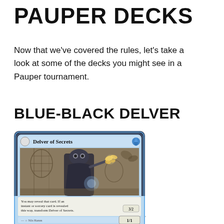PAUPER DECKS
Now that we've covered the rules, let's take a look at some of the decks you might see in a Pauper tournament.
BLUE-BLACK DELVER
[Figure (illustration): Magic: The Gathering card 'Delver of Secrets' — a blue-bordered card showing a cloaked human wizard holding a glowing butterfly, with card text: 'At the beginning of your upkeep, look at the top card of your library. You may reveal that card. If an instant or sorcery card is revealed this way, transform Delver of Secrets.' Creature type: Human Wizard, Power/Toughness: 1/1 (with 3/2 on the back), artist: Nils Hamm.]